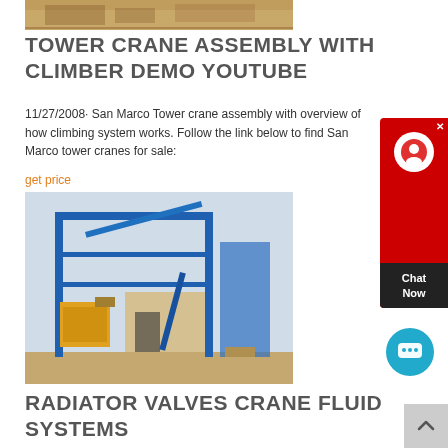[Figure (photo): Construction site with crane equipment, sandy/earthy tones]
TOWER CRANE ASSEMBLY WITH CLIMBER DEMO YOUTUBE
11/27/2008· San Marco Tower crane assembly with overview of how climbing system works. Follow the link below to find San Marco tower cranes for sale:
get price
[Figure (photo): Industrial facility with blue steel structure framework and yellow/beige equipment, crane or conveyor system]
RADIATOR VALVES CRANE FLUID SYSTEMS